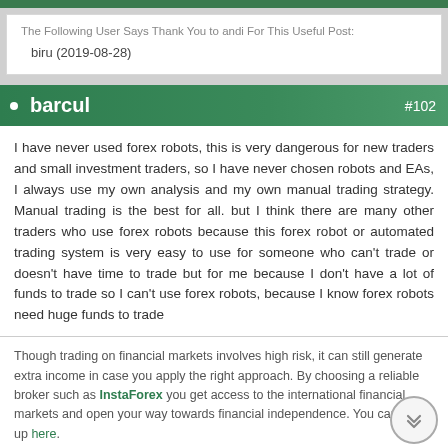The Following User Says Thank You to andi For This Useful Post:

biru (2019-08-28)
barcul  #102
I have never used forex robots, this is very dangerous for new traders and small investment traders, so I have never chosen robots and EAs, I always use my own analysis and my own manual trading strategy. Manual trading is the best for all. but I think there are many other traders who use forex robots because this forex robot or automated trading system is very easy to use for someone who can't trade or doesn't have time to trade but for me because I don't have a lot of funds to trade so I can't use forex robots, because I know forex robots need huge funds to trade
Though trading on financial markets involves high risk, it can still generate extra income in case you apply the right approach. By choosing a reliable broker such as InstaForex you get access to the international financial markets and open your way towards financial independence. You can sign up here.